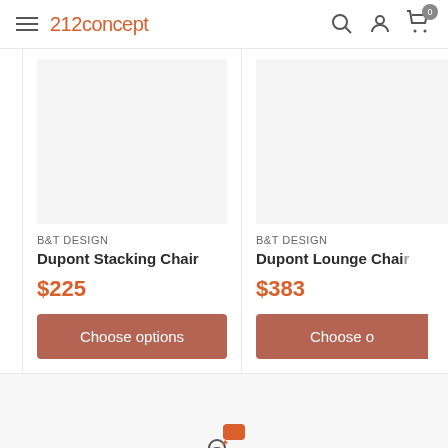212concept — navigation header with hamburger menu, logo, search, account, and cart icons
B&T DESIGN
Dupont Stacking Chair
$225
Choose options
B&T DESIGN
Dupont Lounge Chair
$383
Choose options
[Figure (illustration): Delivery person icon with speech bubble — free delivery nationwide icon]
Free delivery nationwide
We offer free shipping for